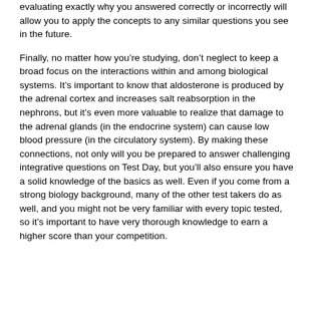evaluating exactly why you answered correctly or incorrectly will allow you to apply the concepts to any similar questions you see in the future.
Finally, no matter how you're studying, don't neglect to keep a broad focus on the interactions within and among biological systems. It's important to know that aldosterone is produced by the adrenal cortex and increases salt reabsorption in the nephrons, but it's even more valuable to realize that damage to the adrenal glands (in the endocrine system) can cause low blood pressure (in the circulatory system). By making these connections, not only will you be prepared to answer challenging integrative questions on Test Day, but you'll also ensure you have a solid knowledge of the basics as well. Even if you come from a strong biology background, many of the other test takers do as well, and you might not be very familiar with every topic tested, so it's important to have very thorough knowledge to earn a higher score than your competition.